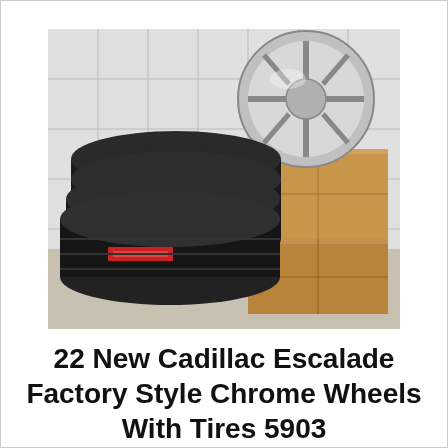[Figure (photo): Photo of four black tires stacked together on the left, a chrome multi-spoke wheel/rim leaning against a white tiled wall in the background, and two cardboard boxes stacked on the right.]
22 New Cadillac Escalade Factory Style Chrome Wheels With Tires 5903